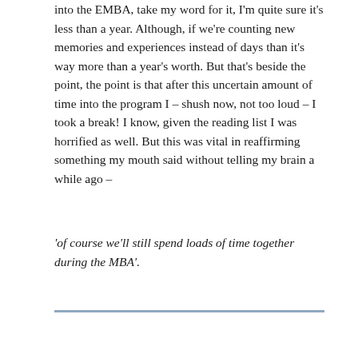into the EMBA, take my word for it, I'm quite sure it's less than a year. Although, if we're counting new memories and experiences instead of days than it's way more than a year's worth. But that's beside the point, the point is that after this uncertain amount of time into the program I – shush now, not too loud – I took a break! I know, given the reading list I was horrified as well. But this was vital in reaffirming something my mouth said without telling my brain a while ago –
'of course we'll still spend loads of time together during the MBA'.